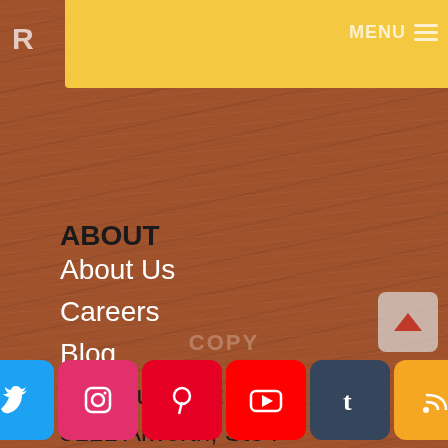R  MENU
ABOUT
About Us
Careers
Blog
Headquarters:
5111 Alworth, Ste F
Garden City
Idaho 83714
USA
[Figure (infographic): Row of social media icon buttons: Facebook, Twitter, Instagram, Pinterest, YouTube, Tumblr, RSS, Email]